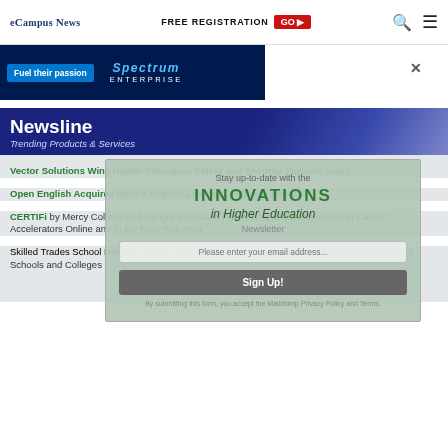eCampus News | FREE REGISTRATION GO | Search | Menu
[Figure (other): Ad banner: Fuel their passion / Spectrum Enterprise on dark blue background]
Newsline — Trending Products & Services
Vector Solutions Wins Higher Education Safety and Security Platinum Award
Open English Acquires India's English-Learning Platform enguru
CERTIFi by Mercy College and Upright Education Partnership Expands Access to Career Accelerators Online and in the New York Area
Skilled Trades School Named 'School of the Year' by the Florida Association of Postsecondary Schools and Colleges
[Figure (other): Newsletter signup overlay: Stay up-to-date with the INNOVATIONS in Higher Education Newsletter. Email input and Sign Up button.]